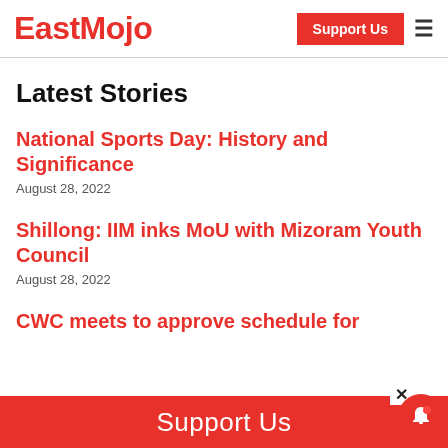EastMojo
Latest Stories
National Sports Day: History and Significance
August 28, 2022
Shillong: IIM inks MoU with Mizoram Youth Council
August 28, 2022
CWC meets to approve schedule for
Support Us